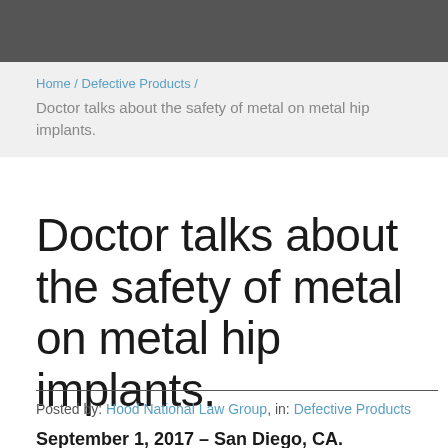[Figure (photo): Dark photo banner at top of page, partially visible portrait]
Home / Defective Products / Doctor talks about the safety of metal on metal hip implants.
Doctor talks about the safety of metal on metal hip implants.
Posted by: Hood National Law Group, in: Defective Products
September 1, 2017 – San Diego, CA. More than half a million people could be at risk from defective metal on metal hip